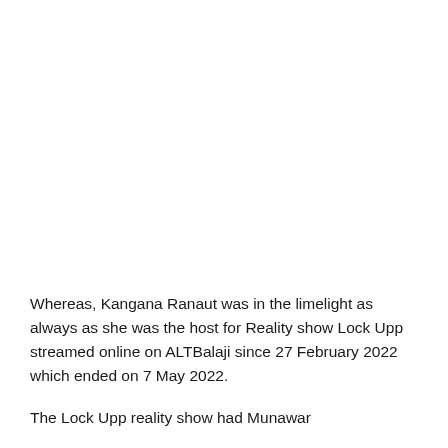Whereas, Kangana Ranaut was in the limelight as always as she was the host for Reality show Lock Upp streamed online on ALTBalaji since 27 February 2022 which ended on 7 May 2022.
The Lock Upp reality show had Munawar